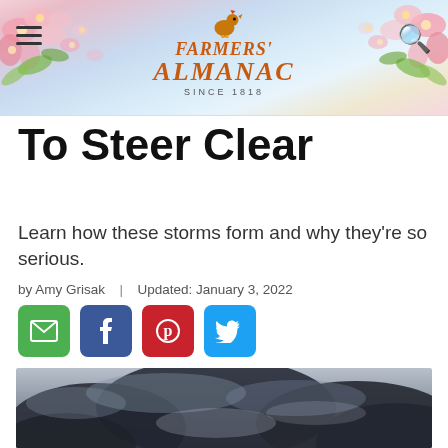FARMERS' ALMANAC SINCE 1818
To Steer Clear
Learn how these storms form and why they're so serious.
by Amy Grisak  |  Updated: January 3, 2022
[Figure (infographic): Social sharing buttons: email (green), Facebook (blue), Pinterest (red), Twitter (light blue)]
[Figure (photo): Dramatic storm clouds photograph showing dark, turbulent sky with cumulonimbus cloud formation]